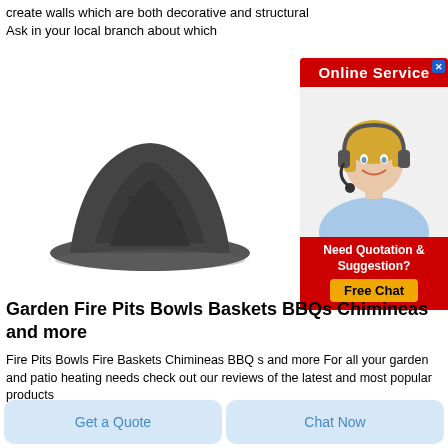create walls which are both decorative and structural Ask in your local branch about which
[Figure (photo): Advertisement banner with 'Online Service' red header with close X button, photo of a blonde woman with headset smiling, and a red bottom section with 'Need Quotation & Suggestion?' text and a yellow 'Free Chat' button.]
[Figure (photo): A pile of dark grey/black powder (likely cement or similar building material) on a white background.]
Garden Fire Pits Bowls Baskets BBQs Chimineas and more
Fire Pits Bowls Fire Baskets Chimineas BBQ s and more For all your garden and patio heating needs check out our reviews of the latest and most popular products
Get a Quote
Chat Now